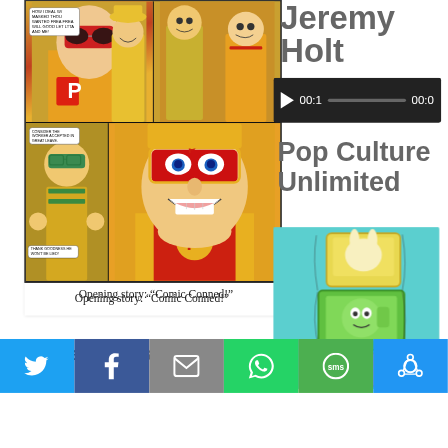[Figure (illustration): Comic book panels showing a superhero in red and yellow costume with P emblem, interacting with other characters. Speech bubbles with text.]
Opening story: “Comic Conned!”
Shanahan has done a lot
Jeremy Holt
[Figure (screenshot): Audio player with play button showing 00:1 and 00:0 timestamps on dark background]
Pop Culture Unlimited
[Figure (illustration): Cartoon robot/character made of stacked TV/monitor boxes on a teal background]
[Figure (screenshot): Share bar with social media buttons: Twitter, Facebook, Email, WhatsApp, SMS, and other]